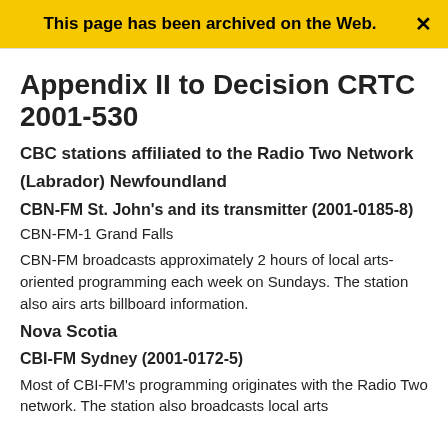This page has been archived on the Web.
Appendix II to Decision CRTC 2001-530
CBC stations affiliated to the Radio Two Network
(Labrador) Newfoundland
CBN-FM St. John's and its transmitter (2001-0185-8)
CBN-FM-1 Grand Falls
CBN-FM broadcasts approximately 2 hours of local arts-oriented programming each week on Sundays. The station also airs arts billboard information.
Nova Scotia
CBI-FM Sydney (2001-0172-5)
Most of CBI-FM's programming originates with the Radio Two network. The station also broadcasts local arts